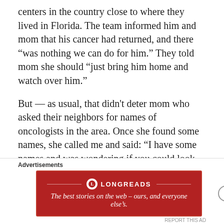centers in the country close to where they lived in Florida. The team informed him and mom that his cancer had returned, and there “was nothing we can do for him.” They told mom she should “just bring him home and watch over him.”
But — as usual, that didn't deter mom who asked their neighbors for names of oncologists in the area. Once she found some names, she called me and said: “I have some names and was wondering if you could look them up on your computer.” I researched each name on her list a bit more and found that one of the Oncologists had completed his residency in Boston. Mom and dad scheduled an appointment and drove over to meet with him.
Advertisements
[Figure (logo): Longreads advertisement banner: red background with Longreads logo and tagline 'The best stories on the web – ours, and everyone else’s.']